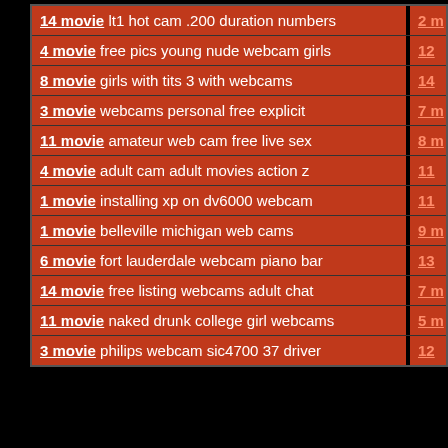| Entry | Right |
| --- | --- |
| 14 movie lt1 hot cam .200 duration numbers | 2 m |
| 4 movie free pics young nude webcam girls | 12 |
| 8 movie girls with tits 3 with webcams | 14 |
| 3 movie webcams personal free explicit | 7 m |
| 11 movie amateur web cam free live sex | 8 m |
| 4 movie adult cam adult movies action z | 11 |
| 1 movie installing xp on dv6000 webcam | 11 |
| 1 movie belleville michigan web cams | 9 m |
| 6 movie fort lauderdale webcam piano bar | 13 |
| 14 movie free listing webcams adult chat | 7 m |
| 11 movie naked drunk college girl webcams | 5 m |
| 3 movie philips webcam sic4700 37 driver | 12 |